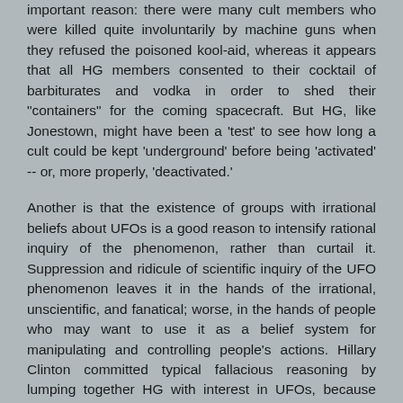important reason: there were many cult members who were killed quite involuntarily by machine guns when they refused the poisoned kool-aid, whereas it appears that all HG members consented to their cocktail of barbiturates and vodka in order to shed their "containers" for the coming spacecraft. But HG, like Jonestown, might have been a 'test' to see how long a cult could be kept 'underground' before being 'activated' -- or, more properly, 'deactivated.'
Another is that the existence of groups with irrational beliefs about UFOs is a good reason to intensify rational inquiry of the phenomenon, rather than curtail it. Suppression and ridicule of scientific inquiry of the UFO phenomenon leaves it in the hands of the irrational, unscientific, and fanatical; worse, in the hands of people who may want to use it as a belief system for manipulating and controlling people's actions. Hillary Clinton committed typical fallacious reasoning by lumping together HG with interest in UFOs, because groups who believe dogmatically in extraterrestrial salvation are not the same thing as groups who are interested in rational inquiry of an